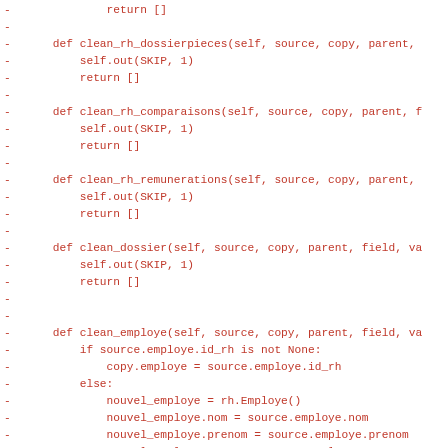Code diff showing removed Python methods: clean_rh_dossierpieces, clean_rh_comparaisons, clean_rh_remunerations, clean_dossier, clean_employe, clean_poste with their implementations
[Figure (screenshot): A code diff view showing deleted lines (prefixed with minus sign) in red monospace font on white background, containing Python class method definitions including clean_rh_dossierpieces, clean_rh_comparaisons, clean_rh_remunerations, clean_dossier, clean_employe (with logic for handling source.employe.id_rh), and the beginning of clean_poste]